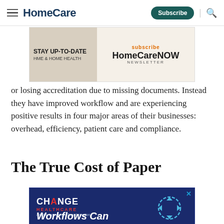HomeCare | Subscribe
[Figure (screenshot): HomeCare NOW newsletter subscription advertisement banner with laptop image and orange 'subscribe' text]
or losing accreditation due to missing documents. Instead they have improved workflow and are experiencing positive results in four major areas of their businesses: overhead, efficiency, patient care and compliance.
The True Cost of Paper
[Figure (screenshot): Change Healthcare advertisement banner with dark blue background showing 'Workflows Can' text and circular arrow diagram]